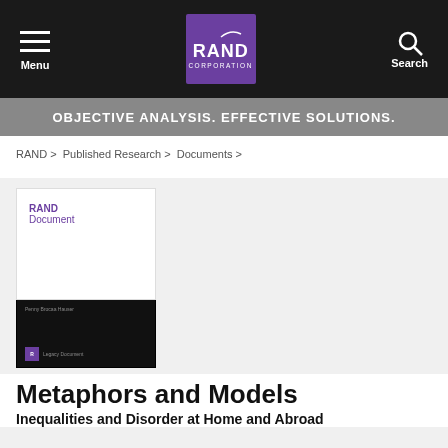Menu | RAND CORPORATION | Search
OBJECTIVE ANALYSIS. EFFECTIVE SOLUTIONS.
RAND > Published Research > Documents >
[Figure (illustration): RAND Document book cover with white top half showing 'RAND Document' in purple text, and black bottom half showing author name and legacy document label]
Metaphors and Models
Inequalities and Disorder at Home and Abroad